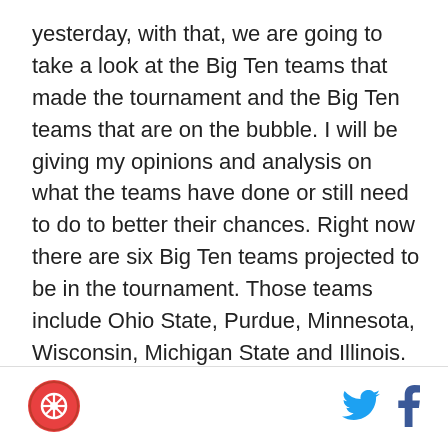yesterday, with that, we are going to take a look at the Big Ten teams that made the tournament and the Big Ten teams that are on the bubble. I will be giving my opinions and analysis on what the teams have done or still need to do to better their chances. Right now there are six Big Ten teams projected to be in the tournament. Those teams include Ohio State, Purdue, Minnesota, Wisconsin, Michigan State and Illinois. The Big Ten holds both a one seed and a two seed right now, which is good and betters the Big Ten's chances of getting to the Final Four and hoisting the national championship trophy as "One Shining Moment" plays and confetti rains down. Northwestern is the only Big Ten team that is sitting on the bubble as one of the first
[Figure (logo): Circular logo with red/orange background and a reel or badge icon in white]
[Figure (logo): Twitter bird icon in cyan/blue]
[Figure (logo): Facebook f icon in blue]